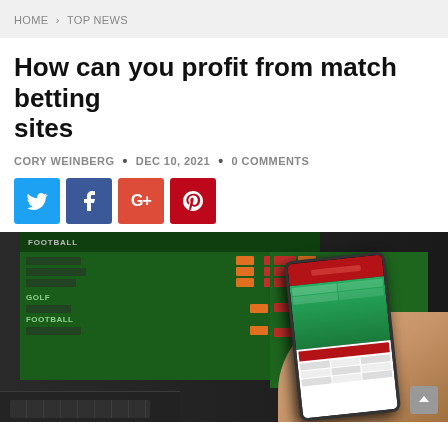HOME > TOP NEWS
How can you profit from match betting sites
CORY WEINBERG • DEC 10, 2021 • 0 COMMENTS
[Figure (other): Four social media share buttons: Twitter (blue), Facebook (dark blue), Google+ (red-orange), Pinterest (dark red)]
[Figure (photo): Photo of a person holding a smartphone with a sports betting app open, in front of a laptop displaying a green betting site interface with football and other sports markets]